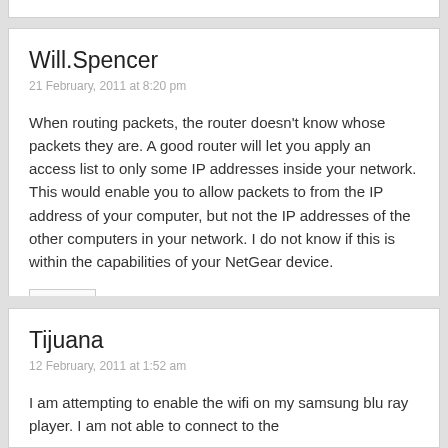Will.Spencer
21 February, 2011 at 8:20 pm
When routing packets, the router doesn't know whose packets they are. A good router will let you apply an access list to only some IP addresses inside your network. This would enable you to allow packets to from the IP address of your computer, but not the IP addresses of the other computers in your network. I do not know if this is within the capabilities of your NetGear device.
REPLY
Tijuana
12 February, 2011 at 1:52 am
I am attempting to enable the wifi on my samsung blu ray player.  I am not able to connect to the